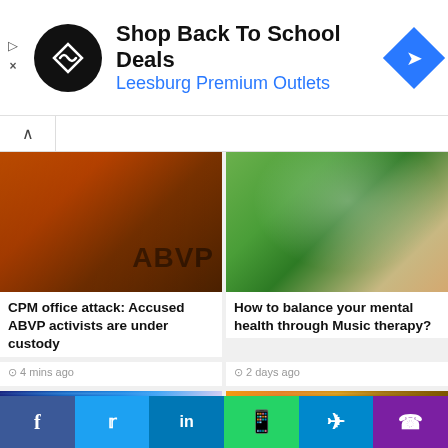[Figure (screenshot): Advertisement banner: Shop Back To School Deals - Leesburg Premium Outlets with logo and navigation icon]
CPM office attack: Accused ABVP activists are under custody
4 mins ago
How to balance your mental health through Music therapy?
2 days ago
[Figure (photo): Orange ABVP flag close-up]
[Figure (photo): Woman listening to music with headphones outdoors]
[Figure (photo): Hand holding a smartphone with glowing screen]
[Figure (photo): Pizza close-up]
[Figure (infographic): Social media share bar: Facebook, Twitter, LinkedIn, WhatsApp, Telegram, Phone]